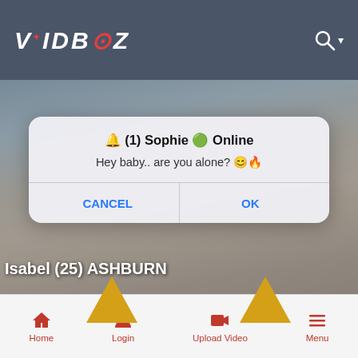VIDBOZ
[Figure (screenshot): Website screenshot showing VIDBOZ header with logo and search icon, a content area with a blurred/dimmed photo of a blonde woman, a popup dialog with title '🔔 (1) Sophie 🟢 Online' and message 'Hey baby.. are you alone? 😊🔥', with CANCEL and OK buttons, a profile label 'Isabel (25) ASHBURN', decorative orange arrows at the bottom, and a footer navigation bar with Home, Login, Upload Video, Menu items in red.]
🔔 (1) Sophie 🟢 Online
Hey baby.. are you alone? 😊🔥
CANCEL
OK
Isabel (25) ASHBURN
Home  Login  Upload Video  Menu